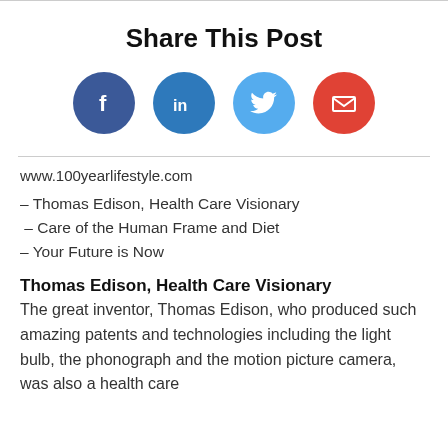Share This Post
[Figure (infographic): Four social sharing icon circles: Facebook (dark blue), LinkedIn (medium blue), Twitter (light blue), Email (red)]
www.100yearlifestyle.com
– Thomas Edison, Health Care Visionary
– Care of the Human Frame and Diet
– Your Future is Now
Thomas Edison, Health Care Visionary
The great inventor, Thomas Edison, who produced such amazing patents and technologies including the light bulb, the phonograph and the motion picture camera, was also a health care